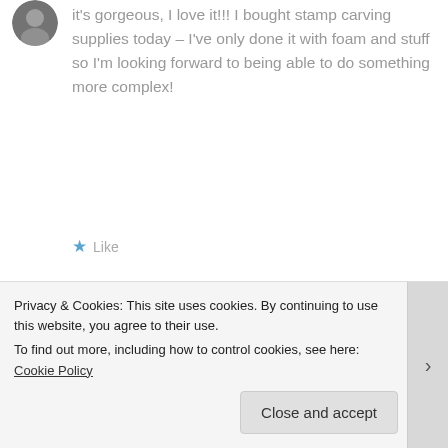[Figure (illustration): Circular avatar image of a person, partially visible at top left]
it's gorgeous, I love it!!! I bought stamp carving supplies today – I've only done it with foam and stuff so I'm looking forward to being able to do something more complex!
★ Like
[Figure (illustration): Circular avatar image of a cartoon-style woman with brown hair]
DACTYL LIFE
February 3, 2015 at 3:24 pm · Author
Privacy & Cookies: This site uses cookies. By continuing to use this website, you agree to their use.
To find out more, including how to control cookies, see here: Cookie Policy
Close and accept